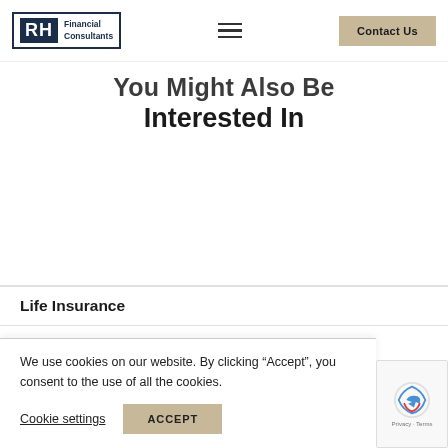RH Financial Consultants — Contact Us
You Might Also Be Interested In
Life Insurance
We use cookies on our website. By clicking “Accept”, you consent to the use of all the cookies.
Cookie settings    ACCEPT